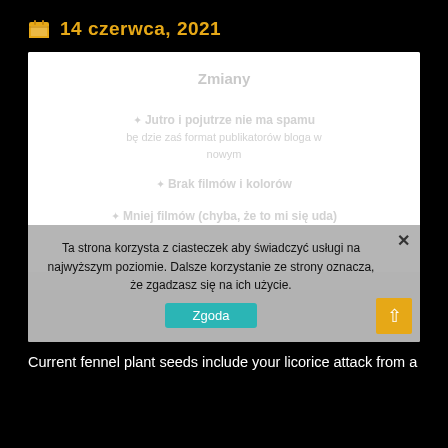14 czerwca, 2021
[Figure (screenshot): A screenshot of a website page with cookie consent overlay. The main content area shows a white panel with faded/blurred list items. A gray cookie consent banner overlays the bottom portion with text about cookies and a 'Zgoda' (Accept) button.]
Ta strona korzysta z ciasteczek aby świadczyć usługi na najwyższym poziomie. Dalsze korzystanie ze strony oznacza, że zgadzasz się na ich użycie.
Current fennel plant seeds include your licorice attack from a